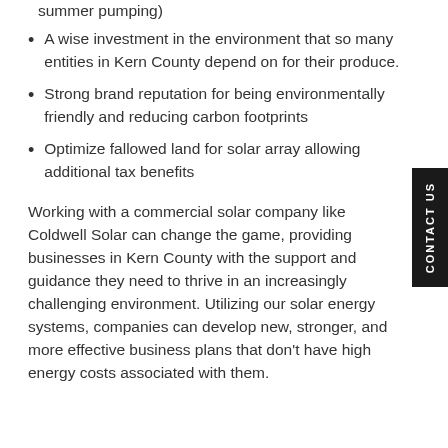summer pumping)
A wise investment in the environment that so many entities in Kern County depend on for their produce.
Strong brand reputation for being environmentally friendly and reducing carbon footprints
Optimize fallowed land for solar array allowing additional tax benefits
Working with a commercial solar company like Coldwell Solar can change the game, providing businesses in Kern County with the support and guidance they need to thrive in an increasingly challenging environment. Utilizing our solar energy systems, companies can develop new, stronger, and more effective business plans that don't have high energy costs associated with them.